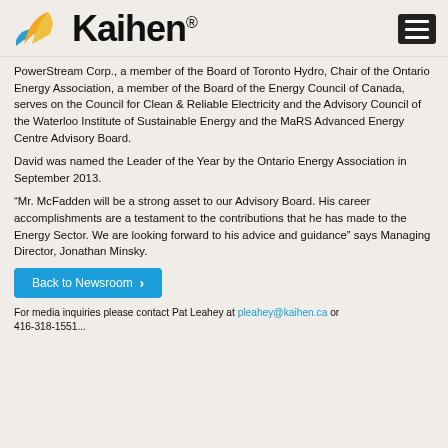[Figure (logo): Kaihen logo with flame/wing graphic and Kaihen wordmark with registered trademark symbol]
PowerStream Corp., a member of the Board of Toronto Hydro, Chair of the Ontario Energy Association, a member of the Board of the Energy Council of Canada, serves on the Council for Clean & Reliable Electricity and the Advisory Council of the Waterloo Institute of Sustainable Energy and the MaRS Advanced Energy Centre Advisory Board.
David was named the Leader of the Year by the Ontario Energy Association in September 2013.
“Mr. McFadden will be a strong asset to our Advisory Board. His career accomplishments are a testament to the contributions that he has made to the Energy Sector. We are looking forward to his advice and guidance” says Managing Director, Jonathan Minsky.
Back to Newsroom
For media inquiries please contact Pat Leahey at pleahey@kaihen.ca or 416-318-1551...